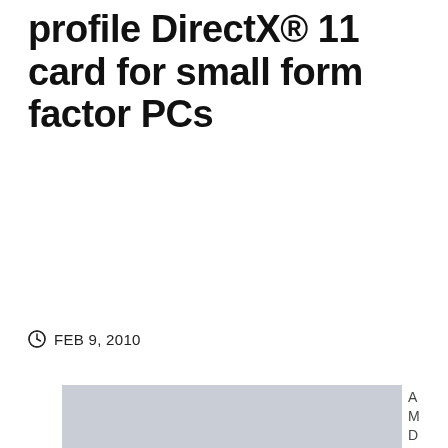profile DirectX® 11 card for small form factor PCs
FEB 9, 2010
[Figure (photo): A gray placeholder image, likely a photo of an AMD graphics card product. To the right, vertical text reads 'AMD (NYS']